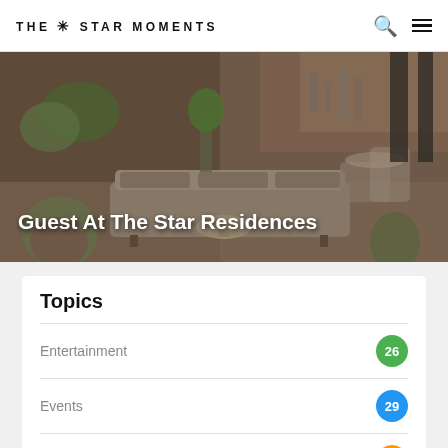THE ✳ STAR MOMENTS
[Figure (photo): Interior lounge area with sofas and plants, hero image for 'Guest At The Star Residences']
Guest At The Star Residences
Topics
Entertainment 26
Events 29
Hotels 25
Restaurants 117